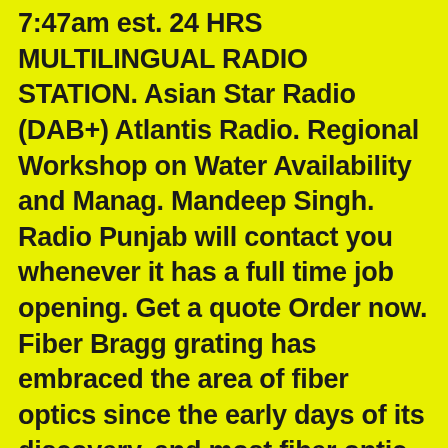7:47am est. 24 HRS MULTILINGUAL RADIO STATION. Asian Star Radio (DAB+) Atlantis Radio. Regional Workshop on Water Availability and Manag. Mandeep Singh. Radio Punjab will contact you whenever it has a full time job opening. Get a quote Order now. Fiber Bragg grating has embraced the area of fiber optics since the early days of its discovery, and most fiber optic sensor systems today make use of fiber Bragg grating technology. Free and open company data on United Kingdom company PANJAB RADIO LIMITED (company number 04017199), Panjab Radio House Hexagon Business Centre Springfield Road, Hayes, Middlesex, UB4 0TH Panjab Radio has taken the decision to stop broadcasting nationally via the Sound Digital DAB multiplex.The station will be removed tonight at midnight, three years after it ... Language: Punjabi. A separate fitness centre for women and a well equipped physiotherapy laboratory has also been established in the gymnasium hall. Visited=22. Radio Punjab is a 24-